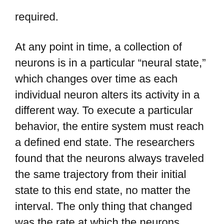required.
At any point in time, a collection of neurons is in a particular “neural state,” which changes over time as each individual neuron alters its activity in a different way. To execute a particular behavior, the entire system must reach a defined end state. The researchers found that the neurons always traveled the same trajectory from their initial state to this end state, no matter the interval. The only thing that changed was the rate at which the neurons traveled this trajectory.
When the interval required was longer, this trajectory was “stretched,” meaning the neurons took more time to evolve to the final state. When the interval